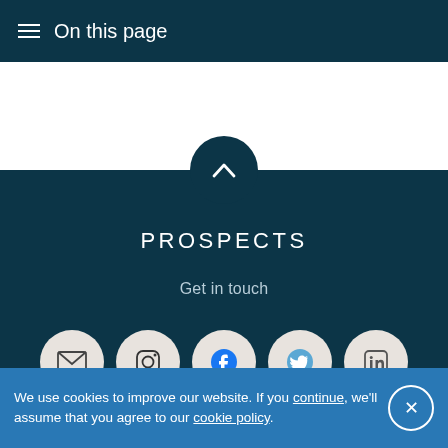On this page
[Figure (other): Back to top circular button with upward chevron arrow, dark teal background]
PROSPECTS
Get in touch
[Figure (infographic): Row of five social media icon circles: email/envelope, Instagram, Facebook, Twitter, LinkedIn]
We use cookies to improve our website. If you continue, we'll assume that you agree to our cookie policy.